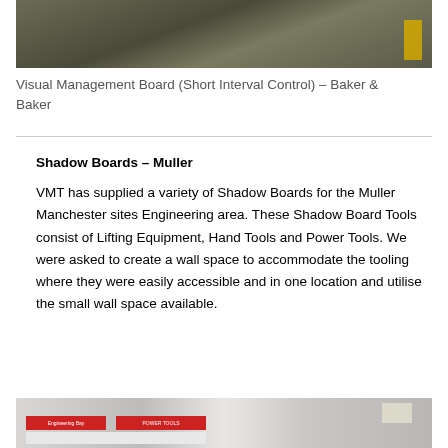[Figure (photo): Partial view of a tiled floor area, appears to be a factory or production facility floor with a yellow object visible at top right.]
Visual Management Board (Short Interval Control) – Baker & Baker
Shadow Boards – Muller
VMT has supplied a variety of Shadow Boards for the Muller Manchester sites Engineering area. These Shadow Board Tools consist of Lifting Equipment, Hand Tools and Power Tools. We were asked to create a wall space to accommodate the tooling where they were easily accessible and in one location and utilise the small wall space available.
[Figure (photo): Partial view of shadow boards mounted on a wall in an engineering area, showing red banners labeled 'Engineering Bay' and 'Power Tools'.]